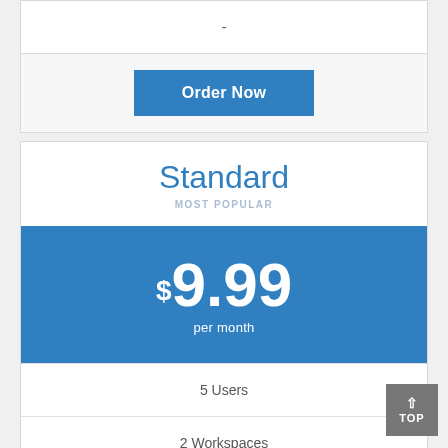-
Order Now
Standard
MOST POPULAR
$9.99 per month
5 Users
2 Workspaces
TOP